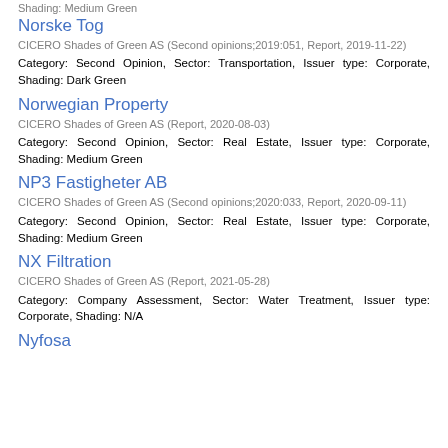Shading: Medium Green
Norske Tog
CICERO Shades of Green AS (Second opinions;2019:051, Report, 2019-11-22)
Category: Second Opinion, Sector: Transportation, Issuer type: Corporate, Shading: Dark Green
Norwegian Property
CICERO Shades of Green AS (Report, 2020-08-03)
Category: Second Opinion, Sector: Real Estate, Issuer type: Corporate, Shading: Medium Green
NP3 Fastigheter AB
CICERO Shades of Green AS (Second opinions;2020:033, Report, 2020-09-11)
Category: Second Opinion, Sector: Real Estate, Issuer type: Corporate, Shading: Medium Green
NX Filtration
CICERO Shades of Green AS (Report, 2021-05-28)
Category: Company Assessment, Sector: Water Treatment, Issuer type: Corporate, Shading: N/A
Nyfosa